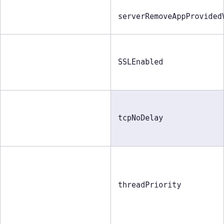| (left column) | Attribute |
| --- | --- |
|  | serverRemoveAppProvidedVa… |
|  | SSLEnabled |
|  | tcpNoDelay |
|  | threadPriority |
|  | throwOnFailure |